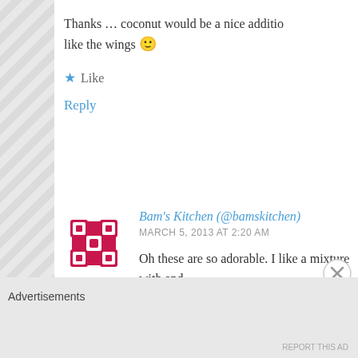Thanks … coconut would be a nice addition … like the wings 🙂
Like
Reply
Bam's Kitchen (@bamskitchen)
MARCH 5, 2013 AT 2:20 AM
Oh these are so adorable. I like a mixture with and them personality.
Like
Advertisements